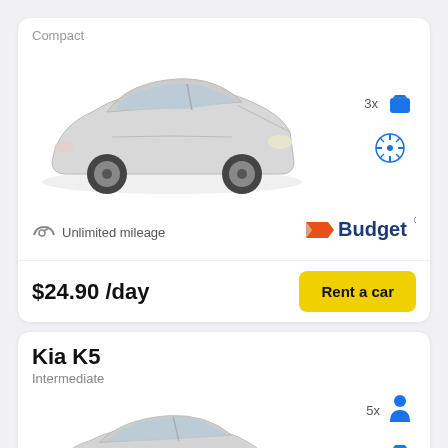Compact
[Figure (photo): Silver compact sedan car (front 3/4 view)]
3x luggage, air conditioning, automatic transmission
Unlimited mileage
[Figure (logo): Budget car rental logo]
$24.90 /day
Rent a car
Kia K5
Intermediate
5x passengers, 4x luggage, air conditioning
[Figure (photo): Silver intermediate sedan car (front 3/4 view), partially visible]